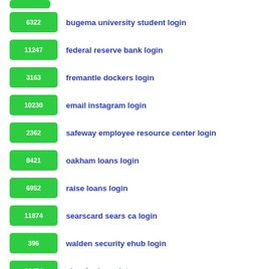6322 bugema university student login
11247 federal reserve bank login
3163 fremantle dockers login
10230 email instagram login
2362 safeway employee resource center login
8421 oakham loans login
6952 raise loans login
11874 searscard sears ca login
396 walden security ehub login
12474 ebay login register
893 signature worldwide login